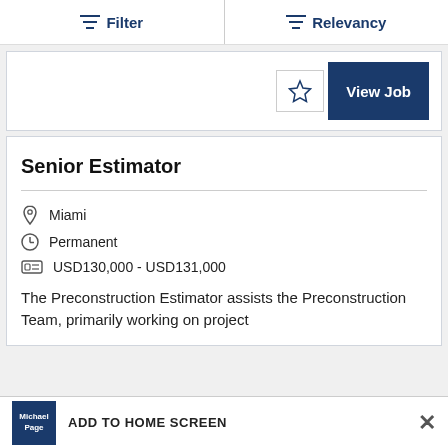Filter | Relevancy
[Figure (screenshot): Star/bookmark button and View Job button]
Senior Estimator
Miami
Permanent
USD130,000 - USD131,000
The Preconstruction Estimator assists the Preconstruction Team, primarily working on project
ADD TO HOME SCREEN